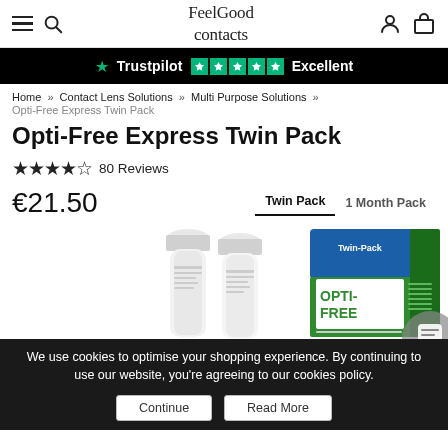FeelGood contacts
★ Trustpilot Excellent
Home » Contact Lens Solutions » Multi Purpose Solutions » Opti-Free Express Twin Pack
Opti-Free Express Twin Pack
★★★★★ 80 Reviews
€21.50  Twin Pack  1 Month Pack
[Figure (photo): Product photo showing two Opti-Free Express solution bottles and a Twin-Pack green box]
We use cookies to optimise your shopping experience. By continuing to use our website, you're agreeing to our cookies policy.
Continue  Read More